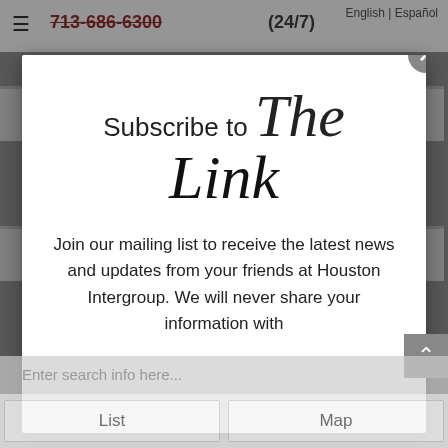English | Español
☰ 713-686-6300 (24/7)
Find a meeting
Donate
Subscribe to The Link
Join our mailing list to receive the latest news and updates from your friends at Houston Intergroup. We will never share your information with